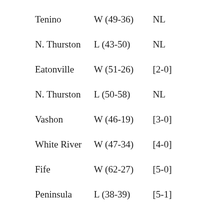Tenino  W (49-36)  NL
N. Thurston  L (43-50)  NL
Eatonville  W (51-26)  [2-0]
N. Thurston  L (50-58)  NL
Vashon  W (46-19)  [3-0]
White River  W (47-34)  [4-0]
Fife  W (62-27)  [5-0]
Peninsula  L (38-39)  [5-1]